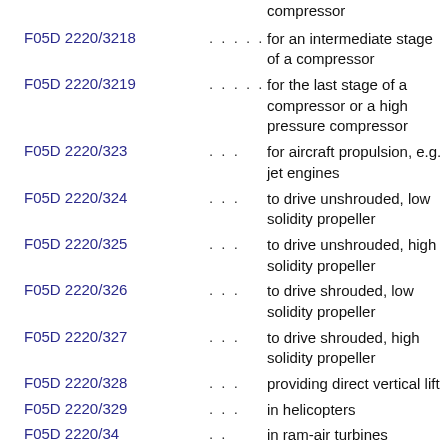compressor
F05D 2220/3218 . . . . . for an intermediate stage of a compressor
F05D 2220/3219 . . . . . for the last stage of a compressor or a high pressure compressor
F05D 2220/323 . . . for aircraft propulsion, e.g. jet engines
F05D 2220/324 . . . to drive unshrouded, low solidity propeller
F05D 2220/325 . . . to drive unshrouded, high solidity propeller
F05D 2220/326 . . . to drive shrouded, low solidity propeller
F05D 2220/327 . . . to drive shrouded, high solidity propeller
F05D 2220/328 . . . providing direct vertical lift
F05D 2220/329 . . . in helicopters
F05D 2220/34 . . in ram-air turbines